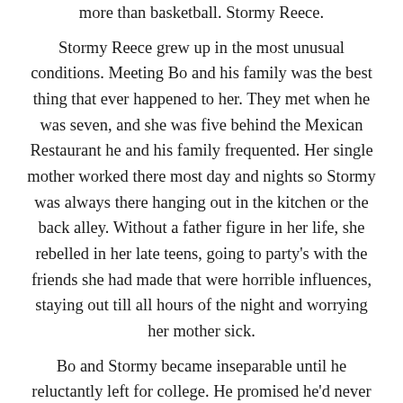more than basketball. Stormy Reece. Stormy Reece grew up in the most unusual conditions. Meeting Bo and his family was the best thing that ever happened to her. They met when he was seven, and she was five behind the Mexican Restaurant he and his family frequented. Her single mother worked there most day and nights so Stormy was always there hanging out in the kitchen or the back alley. Without a father figure in her life, she rebelled in her late teens, going to party's with the friends she had made that were horrible influences, staying out till all hours of the night and worrying her mother sick. Bo and Stormy became inseparable until he reluctantly left for college. He promised he'd never leave her. She believed him. Never again will she trust anyone but herself. He knew from the moment he saw her that he was going to marry her one day. Being forced to attend a college away from his home town, his promising career